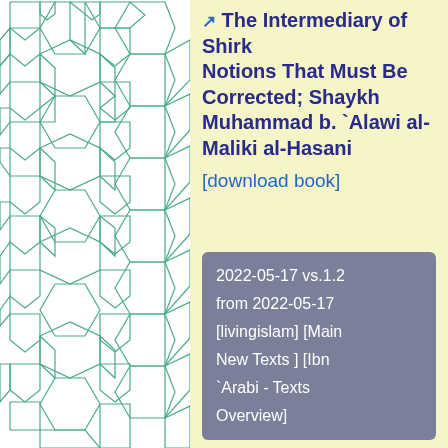[Figure (illustration): Geometric Islamic tessellation pattern in teal/green lines on white background, featuring repeating hexagons and pentagons forming a traditional Islamic geometric design.]
The Intermediary of Shirk
Notions That Must Be Corrected; Shaykh Muhammad b. `Alawi al-Maliki al-Hasani
[download book]
2022-05-17 vs.1.2
from 2022-05-17
[livingislam] [Main New Texts ] [Ibn `Arabi - Texts Overview]